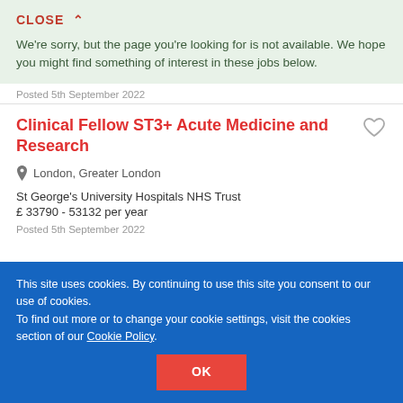CLOSE ∧
We're sorry, but the page you're looking for is not available. We hope you might find something of interest in these jobs below.
Posted 5th September 2022
Clinical Fellow ST3+ Acute Medicine and Research
London, Greater London
St George's University Hospitals NHS Trust
£ 33790 - 53132 per year
Posted 5th September 2022
This site uses cookies. By continuing to use this site you consent to our use of cookies.
To find out more or to change your cookie settings, visit the cookies section of our Cookie Policy.
OK